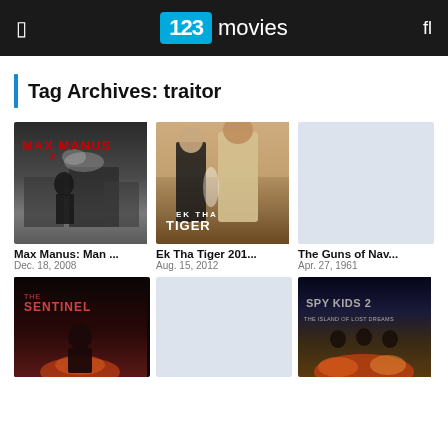123movies
Tag Archives: traitor
[Figure (photo): Max Manus movie poster with dark wartime imagery and red text]
Max Manus: Man ...
Dec. 18, 2008
[Figure (photo): Ek Tha Tiger 2012 movie poster with two actors]
Ek Tha Tiger 201...
Aug. 15, 2012
[Figure (photo): The Guns of Navarone placeholder image (light blue/grey)]
The Guns of Nav...
Apr. 27, 1961
[Figure (photo): The Sentinel movie poster with dark red background]
[Figure (photo): Blank/placeholder movie poster (light blue/grey)]
[Figure (photo): Spy Kids 2: The Island of Lost Dreams movie poster]